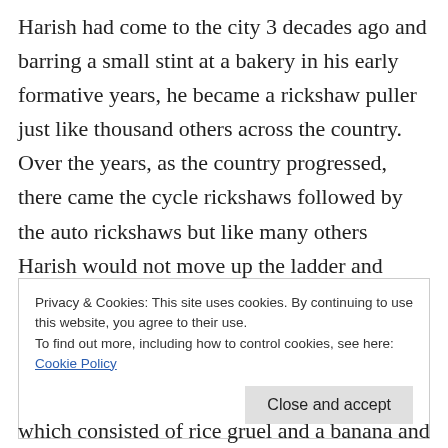Harish had come to the city 3 decades ago and barring a small stint at a bakery in his early formative years, he became a rickshaw puller just like thousand others across the country. Over the years, as the country progressed, there came the cycle rickshaws followed by the auto rickshaws but like many others Harish would not move up the ladder and persisted with his manual one and never thought of changing
Privacy & Cookies: This site uses cookies. By continuing to use this website, you agree to their use.
To find out more, including how to control cookies, see here: Cookie Policy
which consisted of rice gruel and a banana and